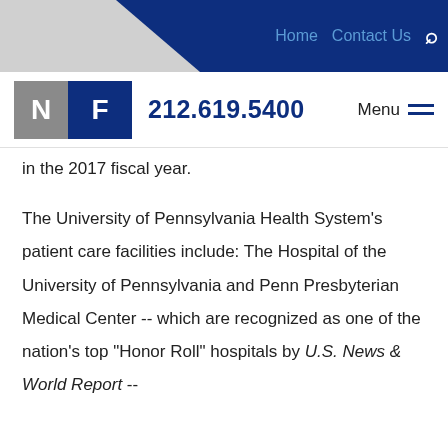Home   Contact Us   🔍
[Figure (logo): NF logo with N in gray box and F in dark blue box]
212.619.5400   Menu
in the 2017 fiscal year.
The University of Pennsylvania Health System's patient care facilities include: The Hospital of the University of Pennsylvania and Penn Presbyterian Medical Center -- which are recognized as one of the nation's top "Honor Roll" hospitals by U.S. News & World Report --